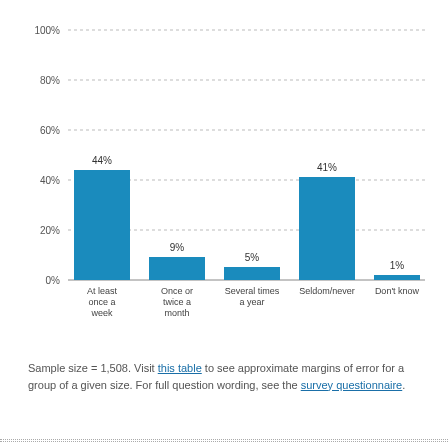[Figure (bar-chart): ]
Sample size = 1,508. Visit this table to see approximate margins of error for a group of a given size. For full question wording, see the survey questionnaire.